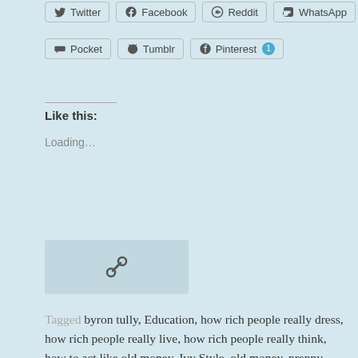[Figure (screenshot): Social share buttons row 1: Twitter, Facebook, Reddit, WhatsApp]
[Figure (screenshot): Social share buttons row 2: Pocket, Tumblr, Pinterest (1)]
Like this:
Loading...
[Figure (other): Reblog/link icon box with chain-link icon]
Tagged byron tully, Education, how rich people really dress, how rich people really live, how rich people really think, how to act like old money, Ivy Style, old money, preppy, preppy style, the old money book, the preppy handbook, WASP